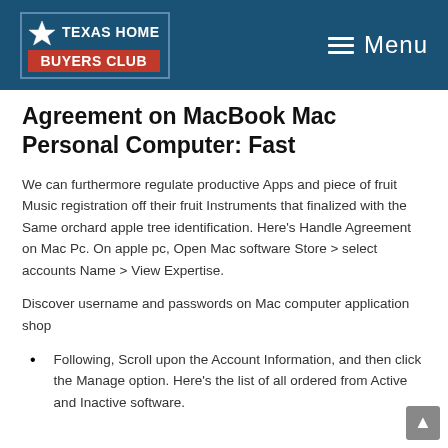Texas Home Buyers Club — Menu
Agreement on MacBook Mac Personal Computer: Fast
We can furthermore regulate productive Apps and piece of fruit Music registration off their fruit Instruments that finalized with the Same orchard apple tree identification. Here's Handle Agreement on Mac Pc. On apple pc, Open Mac software Store > select accounts Name > View Expertise.
Discover username and passwords on Mac computer application shop
Following, Scroll upon the Account Information, and then click the Manage option. Here's the list of all ordered from Active and Inactive software.